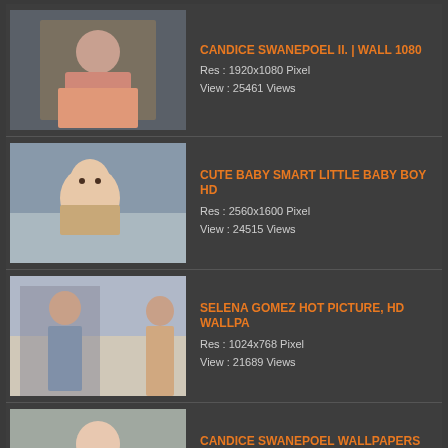CANDICE SWANEPOEL II. | WALL 1080
Res : 1920x1080 Pixel
View : 25461 Views
CUTE BABY SMART LITTLE BABY BOY HD
Res : 2560x1600 Pixel
View : 24515 Views
SELENA GOMEZ HOT PICTURE, HD WALLPA
Res : 1024x768 Pixel
View : 21689 Views
CANDICE SWANEPOEL WALLPAPERS COLLEC
Res : 1280x1024 Pixel
View : 21159 Views
DISCLAIMER: All wallpapers and backgrounds found here are believed to be in the "public domain". Most of the images displayed are of unknown origin. We do not intend to infringe any legitimate intellectual right, artistic rights or copyright. If you are the rightful owner of any of the pictures/wallpapers posted here, and you do not want it to be displayed or if you require a suitable credit, then please contact us and we will immediately do whatever is needed either for the image to be removed or provide credit where it is due. All the content of this site are free of charge and therefore